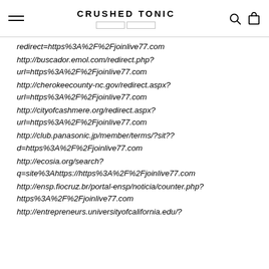CRUSHED TONIC
redirect=https%3A%2F%2Fjoinlive77.com (partial/cut off)
http://buscador.emol.com/redirect.php?url=https%3A%2F%2Fjoinlive77.com
http://cherokeecounty-nc.gov/redirect.aspx?url=https%3A%2F%2Fjoinlive77.com
http://cityofcashmere.org/redirect.aspx?url=https%3A%2F%2Fjoinlive77.com
http://club.panasonic.jp/member/terms/?sit??d=https%3A%2F%2Fjoinlive77.com
http://ecosia.org/search?q=site%3Ahttps://https%3A%2F%2Fjoinlive77.com
http://ensp.fiocruz.br/portal-ensp/noticia/counter.php?https%3A%2F%2Fjoinlive77.com
http://entrepreneurs.universityofcalifornia.edu/